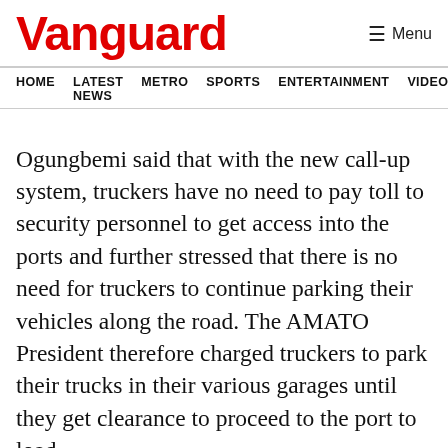Vanguard
HOME  LATEST NEWS  METRO  SPORTS  ENTERTAINMENT  VIDEOS
Ogungbemi said that with the new call-up system, truckers have no need to pay toll to security personnel to get access into the ports and further stressed that there is no need for truckers to continue parking their vehicles along the road. The AMATO President therefore charged truckers to park their trucks in their various garages until they get clearance to proceed to the port to load.
A statement made available to Vanguard Maritime Report read in part, “All truckers should stop paying for passing of their trucks into the ports,